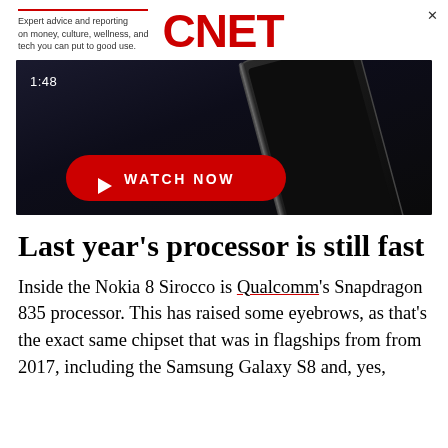Expert advice and reporting on money, culture, wellness, and tech you can put to good use. CNET
[Figure (screenshot): Video thumbnail showing a dark smartphone device with a red WATCH NOW play button and 1:48 timestamp in the corner]
Last year's processor is still fast
Inside the Nokia 8 Sirocco is Qualcomm's Snapdragon 835 processor. This has raised some eyebrows, as that's the exact same chipset that was in flagships from from 2017, including the Samsung Galaxy S8 and, yes,